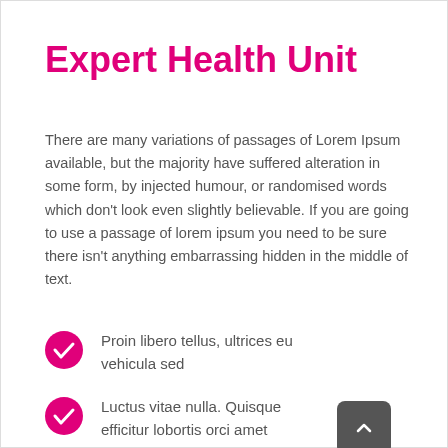Expert Health Unit
There are many variations of passages of Lorem Ipsum available, but the majority have suffered alteration in some form, by injected humour, or randomised words which don't look even slightly believable. If you are going to use a passage of lorem ipsum you need to be sure there isn't anything embarrassing hidden in the middle of text.
Proin libero tellus, ultrices eu vehicula sed
Luctus vitae nulla. Quisque efficitur lobortis orci amet vehicula.